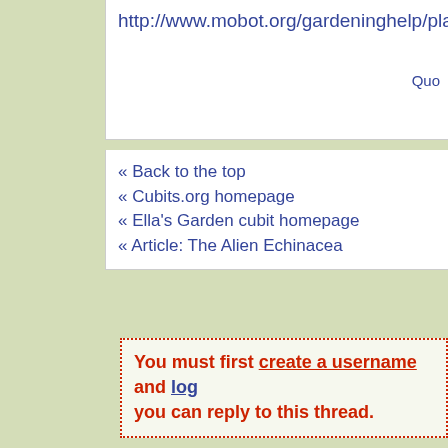http://www.mobot.org/gardeninghelp/plantfinder/IPM.
Quo
« Back to the top
« Cubits.org homepage
« Ella's Garden cubit homepage
« Article: The Alien Echinacea
You must first create a username and log you can reply to this thread.
Signup and join this cubit!
Cubits.org - About - Contact - Terms of Service - Privacy - M
Times are represented in US Central Standard Time
(Random cubit?)